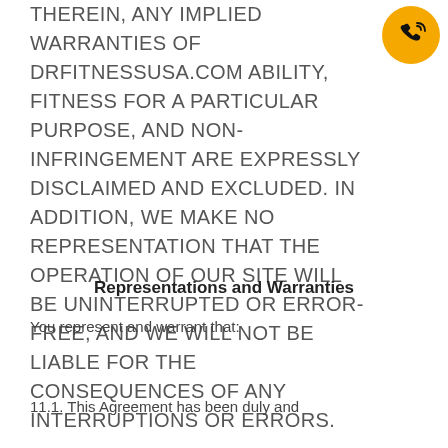THEREIN, ANY IMPLIED WARRANTIES OF DRFITNESSUSA.COM ABILITY, FITNESS FOR A PARTICULAR PURPOSE, AND NON-INFRINGEMENT ARE EXPRESSLY DISCLAIMED AND EXCLUDED. IN ADDITION, WE MAKE NO REPRESENTATION THAT THE OPERATION OF OUR SITE WILL BE UNINTERRUPTED OR ERROR-FREE, AND WE WILL NOT BE LIABLE FOR THE CONSEQUENCES OF ANY INTERRUPTIONS OR ERRORS.
[Figure (illustration): Phone/call icon: circular orange background with black phone handset with signal waves]
Representations and Warranties
You represent and warrant that:
11.1. This Agreement has been duly and